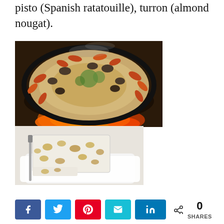pisto (Spanish ratatouille), turron (almond nougat).
[Figure (photo): Paella in a large pan with shrimp, mussels, clams, and rice cooking over open flames]
[Figure (photo): Turron (almond nougat) sliced on a white plate]
0 SHARES (social share buttons: Facebook, Twitter, Pinterest, Email, LinkedIn)